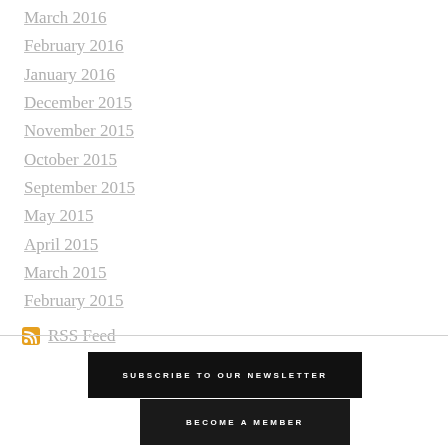March 2016
February 2016
January 2016
December 2015
November 2015
October 2015
September 2015
May 2015
April 2015
March 2015
February 2015
RSS Feed
SUBSCRIBE TO OUR NEWSLETTER
BECOME A MEMBER